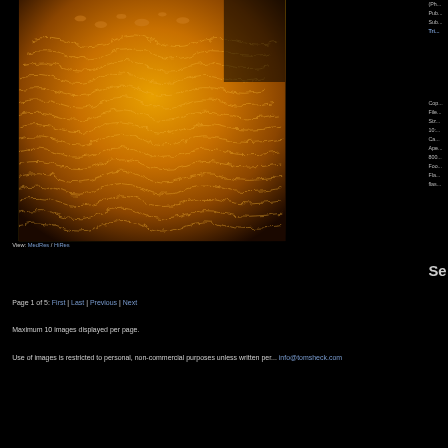[Figure (photo): Close-up macro photograph of coral or biological tissue surface with golden/orange wavy ridged texture under what appears to be electron microscopy or macro photography with false color]
View: MedRes / HiRes
(Ph...
Pub...
Sub...
Tri...
Cop...
File...
Siz...
10:...
Ca...
Ape...
800...
Foo...
Fla...
flas...
Se
Page 1 of 5: First | Last | Previous | Next
Maximum 10 images displayed per page.
Use of images is restricted to personal, non-commercial purposes unless written per... info@tomsheck.com